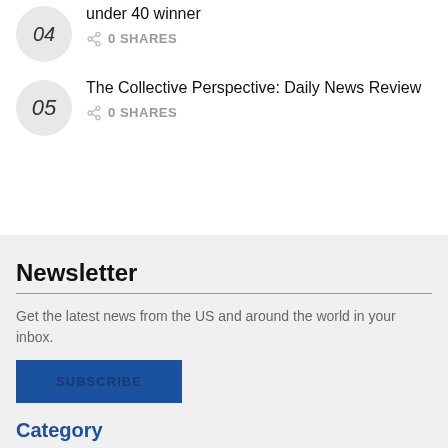04 under 40 winner
0 SHARES
05 The Collective Perspective: Daily News Review
0 SHARES
Newsletter
Get the latest news from the US and around the world in your inbox.
SUBSCRIBE
Category
Business
Opinion